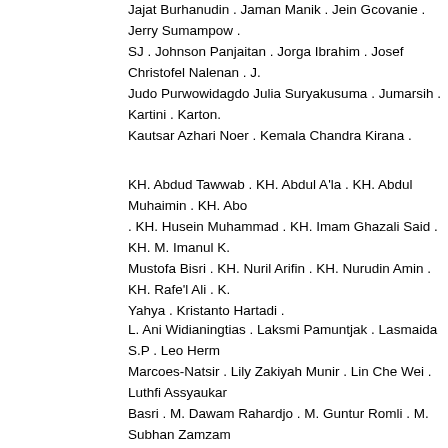Jajat Burhanudin . Jaman Manik . Jein Gcovanie . Jerry Sumampow . SJ . Johnson Panjaitan . Jorga Ibrahim . Josef Christofel Nalenan . J. Judo Purwowidagdo Julia Suryakusuma . Jumarsih . Kartini . Karton . Kautsar Azhari Noer . Kemala Chandra Kirana .
KH. Abdud Tawwab . KH. Abdul A'la . KH. Abdul Muhaimin . KH. Abo . KH. Husein Muhammad . KH. Imam Ghazali Said . KH. M. Imanul K. Mustofa Bisri . KH. Nuril Arifin . KH. Nurudin Amin . KH. Rafe'l Ali . K. Yahya . Kristanto Hartadi .
L. Ani Widianingtias . Laksmi Pamuntjak . Lasmaida S.P . Leo Herm. Marcoes-Natsir . Lily Zakiyah Munir . Lin Che Wei . Luthfi Assyaukar. Basri . M. Dawam Rahardjo . M. Guntur Romli . M. Subhan Zamzam. Azhari . M. Syafi'l Anwar . Marco Kusumawijaya . Maria Astridina . M. Anshor . Mariana Amirudin . Marsilam Simanjuntak . Martin L. Sinag. Situngkir . Marzuki Rais . Masykurudin Hafidz . MF. Nurhuda Y . Mira. Mochtar Pabottingi . Moeslim Abdurrahman . Moh. Monib . Mohamm. Mohtar Mas'oed . Monica Tanuhandaru . Muhammad Kodim . Muha. Mawhiburrahman . Mulyadi Wahyono . Musdah Mulia .
Nathanael Gratias . Neng Dara Affiah . Nia Sjarifuddin . Nirwan Dew. Manueke . Nong Darol Mahmada . Nono Anwar Makarim . Noorhalis. Novriantoni . Nugroho Dewanto . Nukila Amal . Nur Iman Subono . P. Djatikusumah . Panji Wibowo . Patra M. Zein . Pius M. Sumaktoyo . Qasim Mathar . R. Muhammad Mihradi . R. Purba . Rachland Nashi.